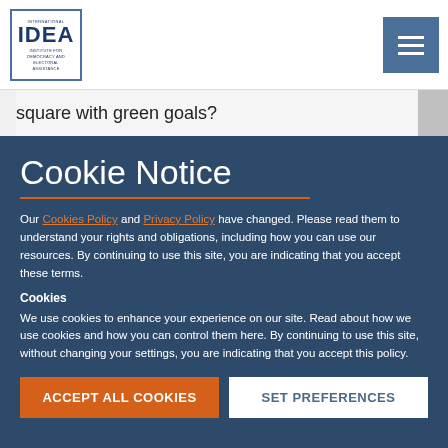International IDEA logo and navigation menu button
square with green goals?
Cookie Notice
Our Cookies Policy and Privacy Policy have changed. Please read them to understand your rights and obligations, including how you can use our resources. By continuing to use this site, you are indicating that you accept these terms.
Cookies
We use cookies to enhance your experience on our site. Read about how we use cookies and how you can control them here. By continuing to use this site, without changing your settings, you are indicating that you accept this policy.